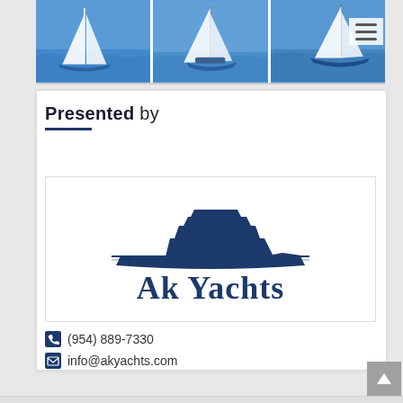[Figure (photo): Three sailing yacht photos in a horizontal strip at the top of the page]
Presented by
[Figure (logo): Ak Yachts logo — blue yacht silhouette above the text 'Ak Yachts' in dark blue serif-style lettering]
(954) 889-7330
info@akyachts.com